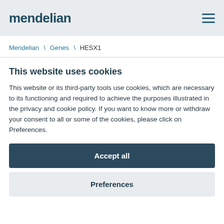mendelian
Mendelian \ Genes \ HESX1
This website uses cookies
This website or its third-party tools use cookies, which are necessary to its functioning and required to achieve the purposes illustrated in the privacy and cookie policy. If you want to know more or withdraw your consent to all or some of the cookies, please click on Preferences.
Accept all
Preferences